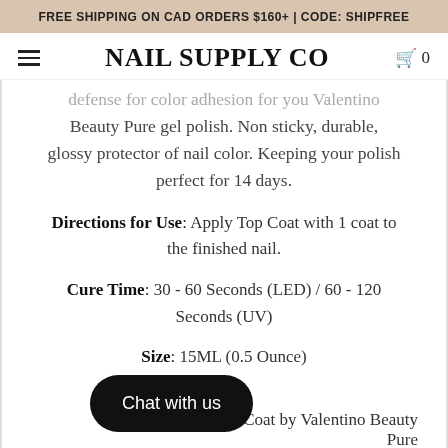FREE SHIPPING ON CAD ORDERS $160+ | CODE: SHIPFREE
NAIL SUPPLY CO
...defense for color adhesion for you Valentino Beauty Pure gel polish. Non sticky, durable, glossy protector of nail color. Keeping your polish perfect for 14 days.
Directions for Use: Apply Top Coat with 1 coat to the finished nail.
Cure Time: 30 - 60 Seconds (LED) / 60 - 120 Seconds (UV)
Size: 15ML (0.5 Ounce)
...se Coat by Valentino Beauty Pure
Note: Product image may differ from the actual